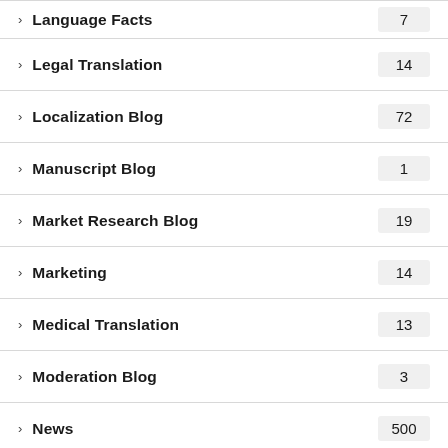Language Facts 7
Legal Translation 14
Localization Blog 72
Manuscript Blog 1
Market Research Blog 19
Marketing 14
Medical Translation 13
Moderation Blog 3
News 500